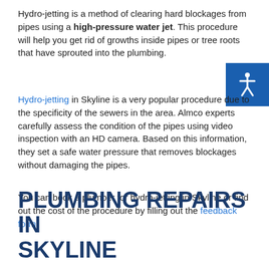Hydro-jetting is a method of clearing hard blockages from pipes using a high-pressure water jet. This procedure will help you get rid of growths inside pipes or tree roots that have sprouted into the plumbing.
Hydro-jetting in Skyline is a very popular procedure due to the specificity of the sewers in the area. Almco experts carefully assess the condition of the pipes using video inspection with an HD camera. Based on this information, they set a safe water pressure that removes blockages without damaging the pipes.
You can book a plumber for hydro-jetting in Skyline or find out the cost of the procedure by filling out the feedback form.
PLUMBING REPAIRS IN SKYLINE